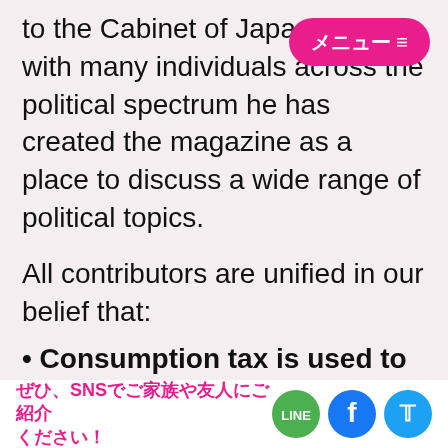to the Cabinet of Japan.  Along with many individuals across the political spectrum he has created the magazine as a place to discuss a wide range of political topics.
All contributors are unified in our belief that:
Consumption tax is used to compensate corporate tax cuts.
This economic policy favours corporations over ordinary people.
ぜひ、SNSでご家族や友人にご紹介ください！